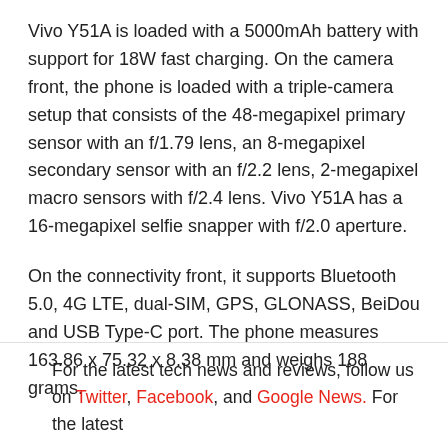Vivo Y51A is loaded with a 5000mAh battery with support for 18W fast charging. On the camera front, the phone is loaded with a triple-camera setup that consists of the 48-megapixel primary sensor with an f/1.79 lens, an 8-megapixel secondary sensor with an f/2.2 lens, 2-megapixel macro sensors with f/2.4 lens. Vivo Y51A has a 16-megapixel selfie snapper with f/2.0 aperture.
On the connectivity front, it supports Bluetooth 5.0, 4G LTE, dual-SIM, GPS, GLONASS, BeiDou and USB Type-C port. The phone measures 163.86 x 75.32 x 8.38 mm and weighs 188 grams.
For the latest tech news and reviews, follow us on Twitter, Facebook, and Google News. For the latest